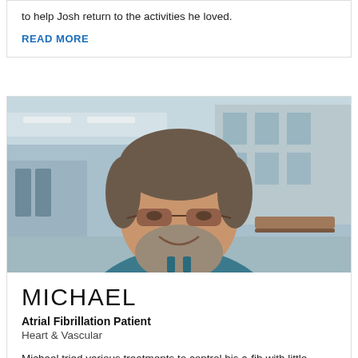to help Josh return to the activities he loved.
READ MORE
[Figure (photo): Portrait photo of Michael, an atrial fibrillation patient, smiling and standing outside a modern hospital building. He has a beard, glasses, and is wearing a teal/blue button-up shirt.]
MICHAEL
Atrial Fibrillation Patient
Heart & Vascular
Michael tried various treatments to control his a-fib with little success. Washington University physicians had the